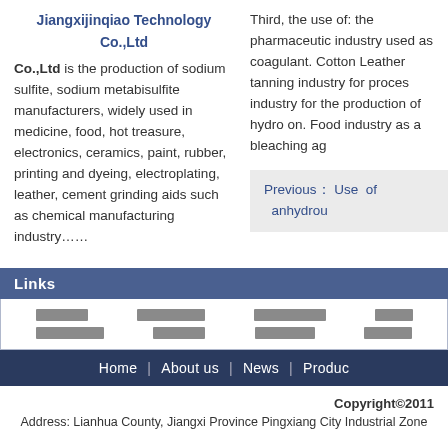Jiangxijinqiao Technology Co.,Ltd
Jiangxijinqiao Technology Co.,Ltd is the production of sodium sulfite, sodium metabisulfite manufacturers, widely used in medicine, food, hot treasure, electronics, ceramics, paint, rubber, printing and dyeing, electroplating, leather, cement grinding aids such as chemical manufacturing industry......
Third, the use of: the pharmaceutical industry used as coagulant. Cotton Leather tanning industry for processing industry for the production of hydro on. Food industry as a bleaching ag
Previous： Use of anhydrou
Links
[Chinese link text rows]
Home | About us | News | Produc
Copyright©2011
Address: Lianhua County, Jiangxi Province Pingxiang City Industrial Zone